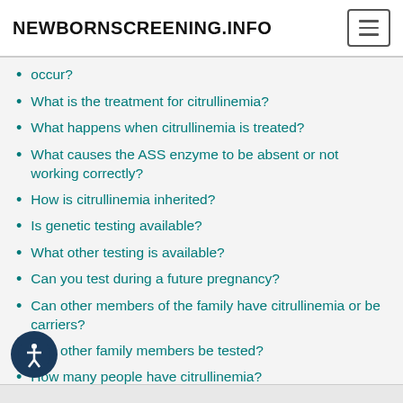NEWBORNSCREENING.INFO
occur?
What is the treatment for citrullinemia?
What happens when citrullinemia is treated?
What causes the ASS enzyme to be absent or not working correctly?
How is citrullinemia inherited?
Is genetic testing available?
What other testing is available?
Can you test during a future pregnancy?
Can other members of the family have citrullinemia or be carriers?
Can other family members be tested?
How many people have citrullinemia?
Does citrullinemia happen more often in a certain ethnic group?
Does citrullinemia go by any other names?
Where can I find more information?